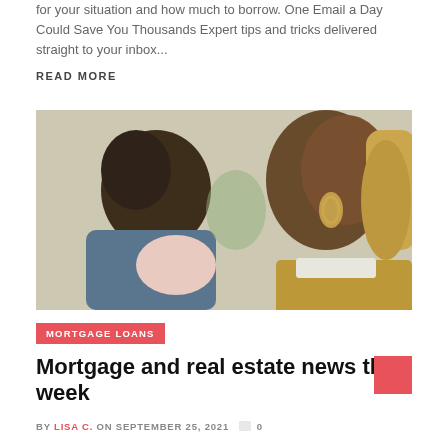for your situation and how much to borrow. One Email a Day Could Save You Thousands Expert tips and tricks delivered straight to your inbox...
READ MORE
[Figure (photo): A woman with gold hoop earrings and a mustard-colored knit sweater looking down at a child with pigtails wearing a blue outfit, photographed in profile.]
MORTGAGE LOANS
Mortgage and real estate news this week
BY LISA C. ON SEPTEMBER 25, 2021  0